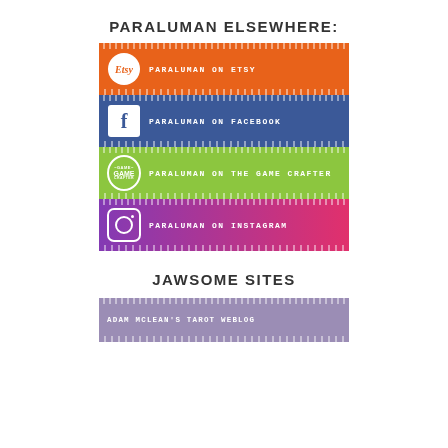PARALUMAN ELSEWHERE:
[Figure (infographic): Four colorful banner buttons: Etsy (orange), Facebook (blue), The Game Crafter (green), Instagram (purple-pink gradient), each with logo icon and white text label.]
JAWSOME SITES
[Figure (infographic): Purple/lavender banner: ADAM MCLEAN'S TAROT WEBLOG]